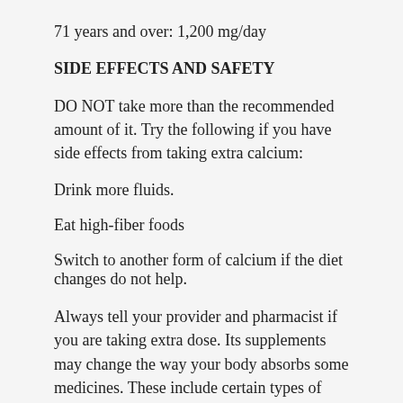71 years and over: 1,200 mg/day
SIDE EFFECTS AND SAFETY
DO NOT take more than the recommended amount of it. Try the following if you have side effects from taking extra calcium:
Drink more fluids.
Eat high-fiber foods
Switch to another form of calcium if the diet changes do not help.
Always tell your provider and pharmacist if you are taking extra dose. Its supplements may change the way your body absorbs some medicines. These include certain types of antibiotics and iron pills.